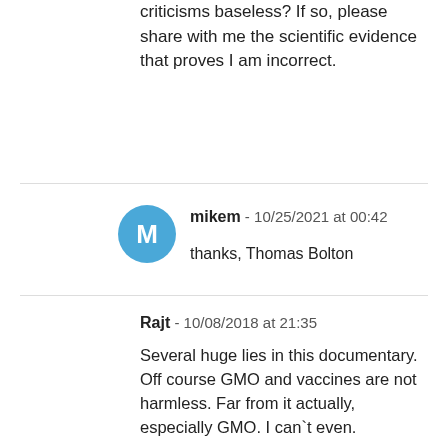criticisms baseless? If so, please share with me the scientific evidence that proves I am incorrect.
mikem - 10/25/2021 at 00:42
thanks, Thomas Bolton
Rajt - 10/08/2018 at 21:35
Several huge lies in this documentary. Off course GMO and vaccines are not harmless. Far from it actually, especially GMO. I can`t even.
Julia Lee - 09/19/2018 at 22:02
What in the world is a "science